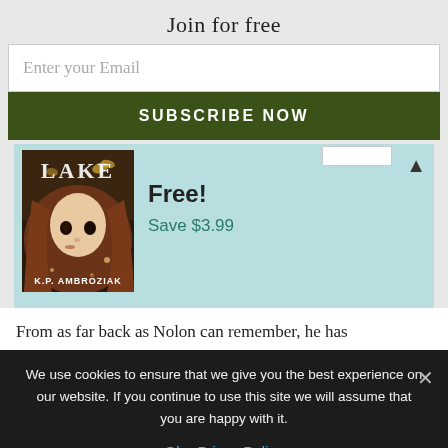Join for free
Enter your Email
SUBSCRIBE NOW
[Figure (illustration): Book cover for a novel — shows a doll-like girl with long brown hair, butterflies, text 'LAKE' at top and 'K.P. AMBROZIAK' at bottom, on a dark atmospheric background.]
Free!
Save $3.99
From as far back as Nolon can remember, he has
We use cookies to ensure that we give you the best experience on our website. If you continue to use this site we will assume that you are happy with it.
Ok   Privay Policy